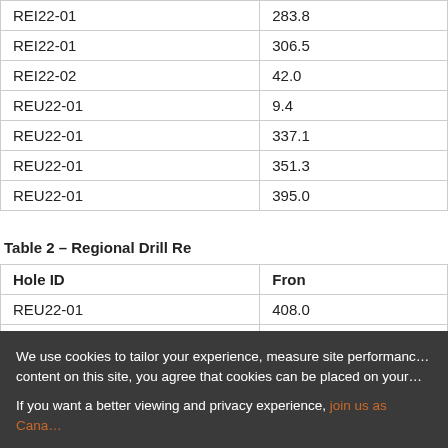| Hole ID | From |
| --- | --- |
| REI22-01 | 283.8 |
| REI22-01 | 306.5 |
| REI22-02 | 42.0 |
| REU22-01 | 9.4 |
| REU22-01 | 337.1 |
| REU22-01 | 351.3 |
| REU22-01 | 395.0 |
Table 2 – Regional Drill Re...
| Hole ID | From |
| --- | --- |
| REU22-01 | 408.0 |
| REU22-02 | 4.5 |
| REU22-02 | ... |
We use cookies to tailor your experience, measure site performance... content on this site, you agree that cookies can be placed on your...
If you want a better viewing and privacy experience, join us as Cana...